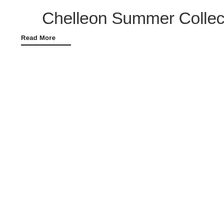Chelleon Summer Collection 2022
Read More